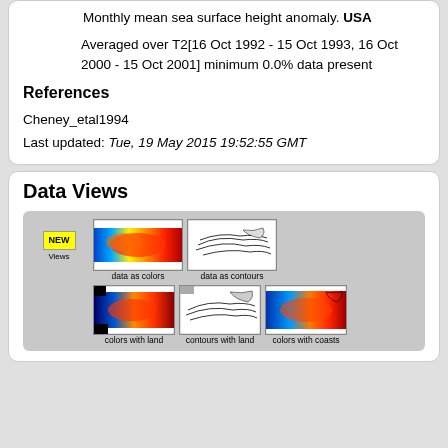Monthly mean sea surface height anomaly. USA
Averaged over T2[16 Oct 1992 - 15 Oct 1993, 16 Oct 2000 - 15 Oct 2001] minimum 0.0% data present
References
Cheney_etal1994
Last updated: Tue, 19 May 2015 19:52:55 GMT
Data Views
[Figure (screenshot): Data Views panel showing thumbnail maps: NEW Views badge, data as colors (color heatmap of sea surface), data as contours (contour map), colors with land, contours with land, colors with coasts]